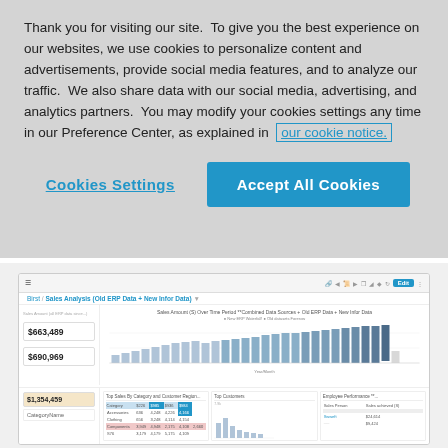Thank you for visiting our site.  To give you the best experience on our websites, we use cookies to personalize content and advertisements, provide social media features, and to analyze our traffic.  We also share data with our social media, advertising, and analytics partners.  You may modify your cookies settings any time in our Preference Center, as explained in our cookie notice.
Cookies Settings
Accept All Cookies
[Figure (screenshot): Dashboard screenshot showing Birst Sales Analysis (Old ERP Data + New Infor Data) with KPI boxes showing $663,489 and $690,969, a bar chart of Sales Amount by Time Period, and bottom panels showing $1,354,459, Top Sales By Category and Customer Region, Top Customers, and Employee Performance.]